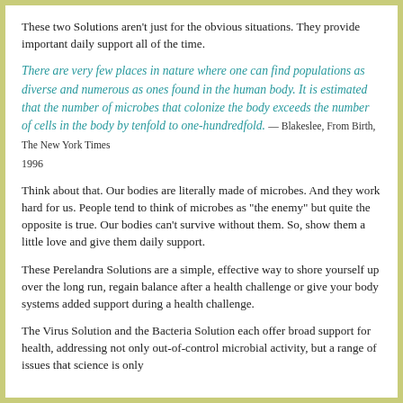These two Solutions aren't just for the obvious situations. They provide important daily support all of the time.
There are very few places in nature where one can find populations as diverse and numerous as ones found in the human body. It is estimated that the number of microbes that colonize the body exceeds the number of cells in the body by tenfold to one-hundredfold. — Blakeslee, From Birth, The New York Times 1996
Think about that. Our bodies are literally made of microbes. And they work hard for us. People tend to think of microbes as "the enemy" but quite the opposite is true. Our bodies can't survive without them. So, show them a little love and give them daily support.
These Perelandra Solutions are a simple, effective way to shore yourself up over the long run, regain balance after a health challenge or give your body systems added support during a health challenge.
The Virus Solution and the Bacteria Solution each offer broad support for health, addressing not only out-of-control microbial activity, but a range of issues that science is only